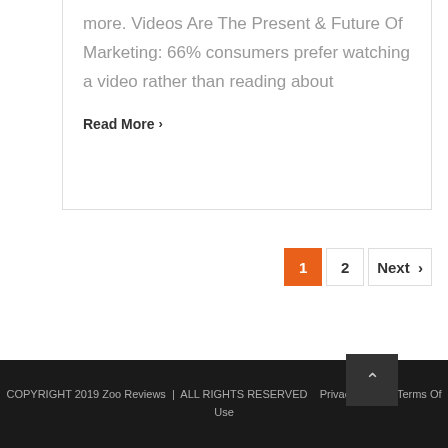more. Videos Are The Present & Future Of Marketing: 66% consumers prefer watching a video rather than reading about
Read More >
1  2  Next >
COPYRIGHT 2019 Zoo Reviews  |  ALL RIGHTS RESERVED  Privacy Policy | Terms Of Use